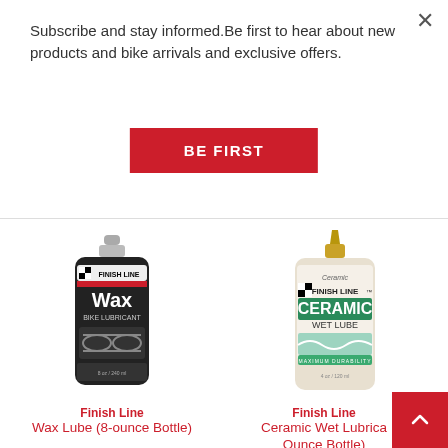Subscribe and stay informed.Be first to hear about new products and bike arrivals and exclusive offers.
[Figure (other): Red 'BE FIRST' subscription button]
[Figure (photo): Finish Line Wax Bike Lubricant black bottle, 8-ounce]
Finish Line
Wax Lube (8-ounce Bottle)
[Figure (photo): Finish Line Ceramic Wet Lube white bottle with gold tip]
Finish Line
Ceramic Wet Lubricant Ounce Bottle)